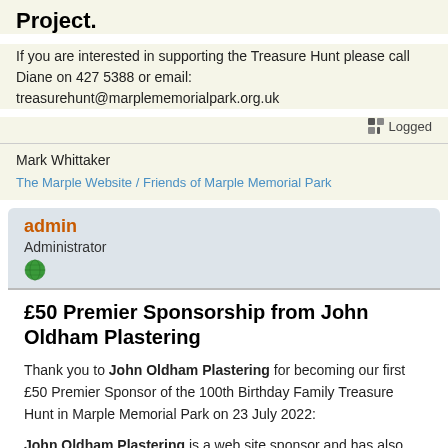Project.
If you are interested in supporting the Treasure Hunt please call Diane on 427 5388 or email: treasurehunt@marplememorialpark.org.uk
Logged
Mark Whittaker
The Marple Website / Friends of Marple Memorial Park
admin
Administrator
£50 Premier Sponsorship from John Oldham Plastering
Thank you to John Oldham Plastering for becoming our first £50 Premier Sponsor of the 100th Birthday Family Treasure Hunt in Marple Memorial Park on 23 July 2022:
John Oldham Plastering is a web site sponsor and has also supported the Treasure Hunt since 2017.
John Oldham Plastering